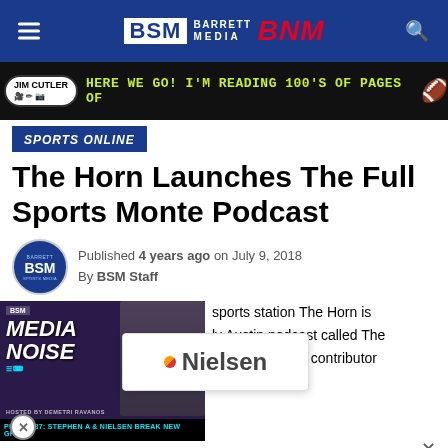BSM BARRETT MEDIA BNM
[Figure (advertisement): Jim Cutler ad banner with text: HERE WE GO! I'M READING 100'S OF PAGES OF (football emoji)]
SPORTS ONLINE
The Horn Launches The Full Sports Monte Podcast
Published 4 years ago on July 9, 2018
By BSM Staff
[Figure (screenshot): Media Noise podcast thumbnail with Nielsen popup overlay, episode 87: Stephen A & Nielsen Break New Ground]
sports station The Horn is
ly Austin podcast called The
hosted by Horn contributor
Williams is an award winning broadcast journalist, but
he also creates content on sites for Strong, Socially...